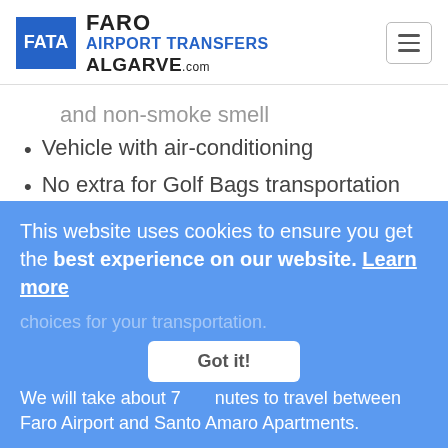[Figure (logo): Faro Airport Transfers Algarve.com logo with blue FATA box and hamburger menu icon]
and non-smoke smell
Vehicle with air-conditioning
No extra for Golf Bags transportation
A cheerful and helpful driver 😁
Santo Amaro Apartments
Located in Lagos, around 92km from Faro Airport. We will take about 70 minutes to travel between Faro Airport and Santo Amaro Apartments.
This website uses cookies to ensure you get the best experience on our website. Learn more
Got it!